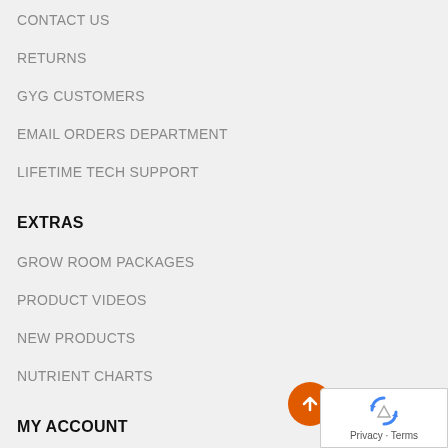CONTACT US
RETURNS
GYG CUSTOMERS
EMAIL ORDERS DEPARTMENT
LIFETIME TECH SUPPORT
EXTRAS
GROW ROOM PACKAGES
PRODUCT VIDEOS
NEW PRODUCTS
NUTRIENT CHARTS
MY ACCOUNT
MY ACCOUNT
ORDER HISTORY
WISH LIST
SITEMAP
[Figure (logo): reCAPTCHA badge with privacy and terms links, and an orange scroll-to-top button]